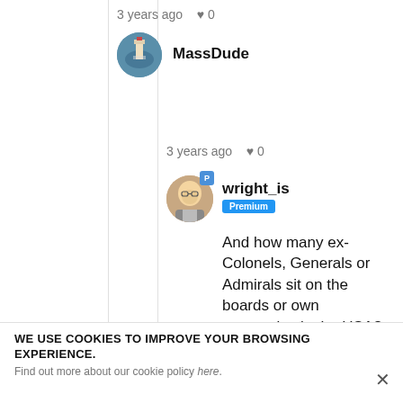3 years ago  ♥ 0
MassDude
3 years ago  ♥ 0
wright_is
Premium
And how many ex-Colonels, Generals or Admirals sit on the boards or own companies in the USA? Or how many politicians or ex-politicians sit on the boards of companies?
WE USE COOKIES TO IMPROVE YOUR BROWSING EXPERIENCE.
Find out more about our cookie policy here.